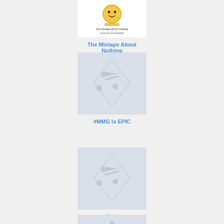[Figure (illustration): Album cover thumbnail for The Mixtape About Nothing, showing a small illustrated image with text 'the mixtape about nothing mixed by rick camkeble']
The Mixtape About Nothing
[Figure (illustration): Music placeholder thumbnail with grey background and music note icon for #MMG Is EPIC]
#MMG Is EPIC
[Figure (illustration): Music placeholder thumbnail with grey background and music note icon for Wale]
Wale
[Figure (illustration): Music placeholder thumbnail with grey background and triangle/mountain icon, partially visible at bottom]